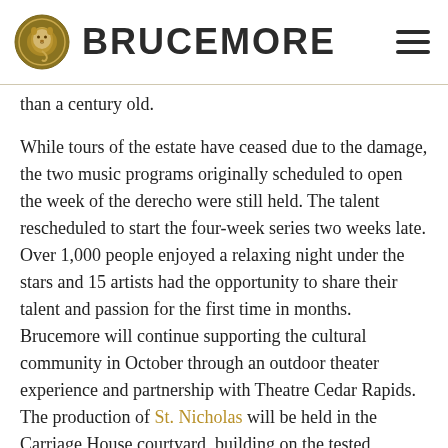BRUCEMORE
than a century old.
While tours of the estate have ceased due to the damage, the two music programs originally scheduled to open the week of the derecho were still held. The talent rescheduled to start the four-week series two weeks late. Over 1,000 people enjoyed a relaxing night under the stars and 15 artists had the opportunity to share their talent and passion for the first time in months. Brucemore will continue supporting the cultural community in October through an outdoor theater experience and partnership with Theatre Cedar Rapids. The production of St. Nicholas will be held in the Carriage House courtyard, building on the tested experience and COVID-19 mitigation from the music series.